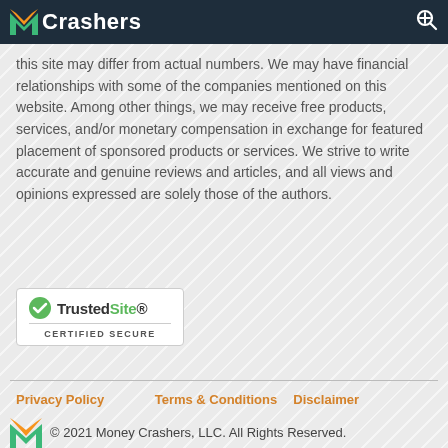Money Crashers
this site may differ from actual numbers. We may have financial relationships with some of the companies mentioned on this website. Among other things, we may receive free products, services, and/or monetary compensation in exchange for featured placement of sponsored products or services. We strive to write accurate and genuine reviews and articles, and all views and opinions expressed are solely those of the authors.
[Figure (logo): TrustedSite Certified Secure badge with green checkmark]
Privacy Policy   Terms & Conditions   Disclaimer
© 2021 Money Crashers, LLC. All Rights Reserved.